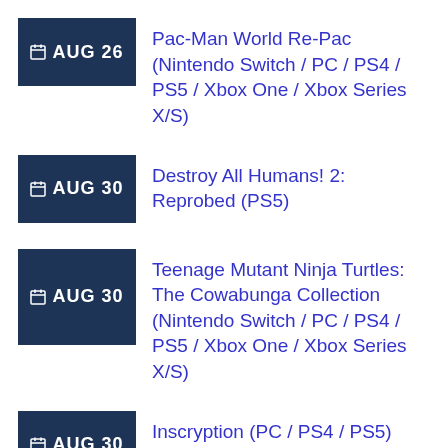AUG 26 — Pac-Man World Re-Pac (Nintendo Switch / PC / PS4 / PS5 / Xbox One / Xbox Series X/S)
AUG 30 — Destroy All Humans! 2: Reprobed (PS5)
AUG 30 — Teenage Mutant Ninja Turtles: The Cowabunga Collection (Nintendo Switch / PC / PS4 / PS5 / Xbox One / Xbox Series X/S)
AUG 30 — Inscryption (PC / PS4 / PS5)